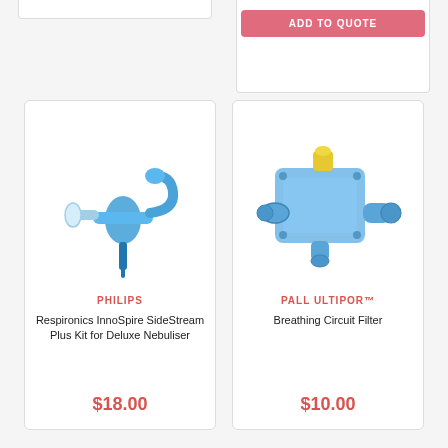[Figure (other): ADD TO QUOTE button in pink/red on a white card panel at top right]
[Figure (photo): Philips Respironics InnoSpire SideStream Plus nebuliser kit - blue T-shaped inhaler/nebuliser device with mouthpiece]
PHILIPS
Respironics InnoSpire SideStream Plus Kit for Deluxe Nebuliser
$18.00
[Figure (photo): Pall Ultipor breathing circuit filter - transparent blue plastic medical filter housing with yellow connector port]
PALL ULTIPOR™
Breathing Circuit Filter
$10.00